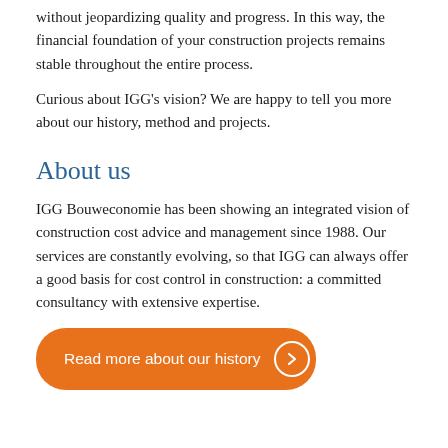without jeopardizing quality and progress. In this way, the financial foundation of your construction projects remains stable throughout the entire process.
Curious about IGG's vision? We are happy to tell you more about our history, method and projects.
About us
IGG Bouweconomie has been showing an integrated vision of construction cost advice and management since 1988. Our services are constantly evolving, so that IGG can always offer a good basis for cost control in construction: a committed consultancy with extensive expertise.
Read more about our history